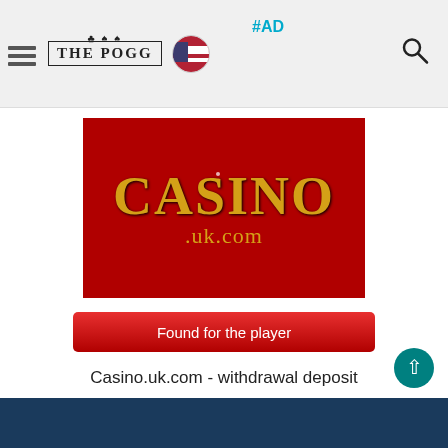THE POGG | #AD
[Figure (logo): Casino.uk.com logo on dark red background with gold text]
Found for the player
Casino.uk.com - withdrawal deposit
Posted by flowjoy
June 27, 2019
100%   2   3 years